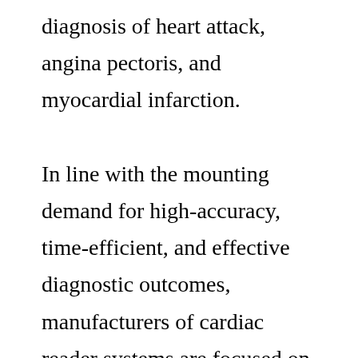diagnosis of heart attack, angina pectoris, and myocardial infarction.

In line with the mounting demand for high-accuracy, time-efficient, and effective diagnostic outcomes, manufacturers of cardiac reader systems are focused on augmenting their R&D investments. According to the report, increase in R&D efforts will create a plethora of new growth opportunities for the cardiac reader system market. In addition, the notable increase in